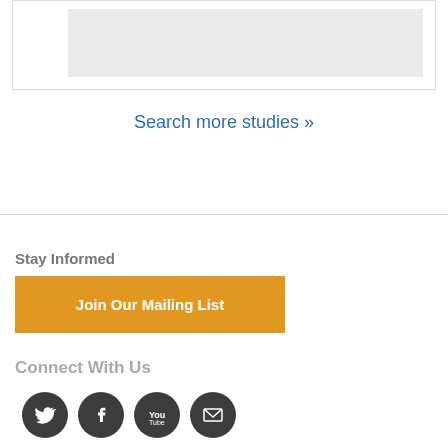[Figure (screenshot): Top card with light gray image placeholder inside a white bordered card]
Search more studies »
Stay Informed
Join Our Mailing List
Connect With Us
[Figure (illustration): Row of four social media icon circles: Twitter bird, Facebook f, YouTube, and envelope/email icons in dark gray circles]